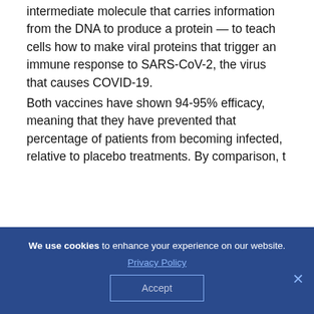intermediate molecule that carries information from the DNA to produce a protein — to teach cells how to make viral proteins that trigger an immune response to SARS-CoV-2, the virus that causes COVID-19.

Both vaccines have shown 94-95% efficacy, meaning that they have prevented that percentage of patients from becoming infected, relative to placebo treatments. By comparison, t
We use cookies to enhance your experience on our website. Privacy Policy Accept